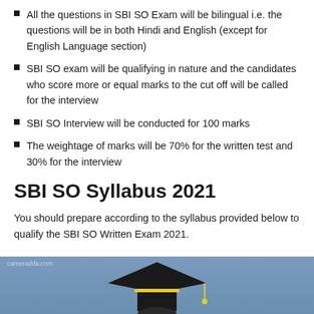All the questions in SBI SO Exam will be bilingual i.e. the questions will be in both Hindi and English (except for English Language section)
SBI SO exam will be qualifying in nature and the candidates who score more or equal marks to the cut off will be called for the interview
SBI SO Interview will be conducted for 100 marks
The weightage of marks will be 70% for the written test and 30% for the interview
SBI SO Syllabus 2021
You should prepare according to the syllabus provided below to qualify the SBI SO Written Exam 2021.
[Figure (photo): Graduation cap image with careeradda.com watermark on a blue-grey background]